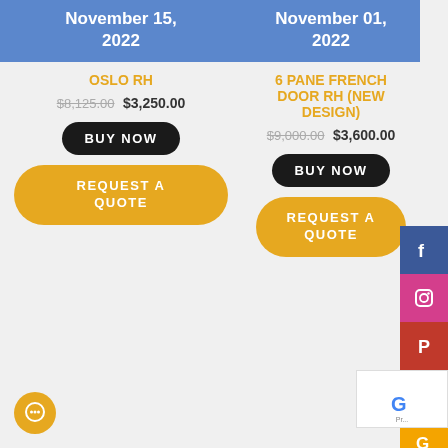November 15, 2022
November 01, 2022
OSLO RH
$8,125.00 $3,250.00
BUY NOW
REQUEST A QUOTE
6 PANE FRENCH DOOR RH (NEW DESIGN)
$9,000.00 $3,600.00
BUY NOW
REQUEST A QUOTE